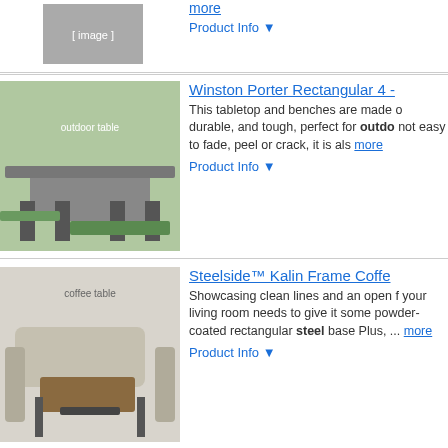[Figure (photo): Partial product image at top (chair/furniture), cropped]
more
Product Info ▼
[Figure (photo): Winston Porter Rectangular outdoor picnic table set on green grass]
Winston Porter Rectangular 4 -
This tabletop and benches are made of durable, and tough, perfect for outdoor not easy to fade, peel or crack, it is also more
Product Info ▼
[Figure (photo): Steelside Kalin Frame Coffee Table with sectional sofa in living room]
Steelside™ Kalin Frame Coffe
Showcasing clean lines and an open frame your living room needs to give it some powder-coated rectangular steel base Plus, ... more
Product Info ▼
[Figure (photo): Birch Lane Cael Teak outdoor dining table with chairs on patio]
Birch Lane™ Cael Teak Dining
Set this outdoor dining table with flowers dinner under the sky with the family. W from teak wood that is naturally weath ... more
Product Info ▼
[Figure (photo): 17 Stories outdoor dining table with chairs in garden setting]
17 Stories Outdoor Dining Ta
This dining table will have you covered minimalistic lines, this table is perfect Base Color: Light Gray Top / Black Ba